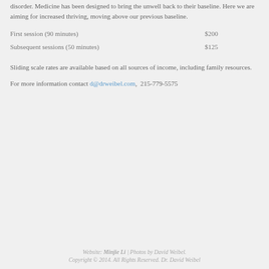disorder. Medicine has been designed to bring the unwell back to their baseline. Here we are aiming for increased thriving, moving above our previous baseline.
First session (90 minutes)    $200
Subsequent sessions (50 minutes)    $125
Sliding scale rates are available based on all sources of income, including family resources.
For more information contact d@drweibel.com,  215-779-5575
Website: Minjie Li | Photos by David Weibel. Copyright © 2014. All Rights Reserved. Dr. David Weibel